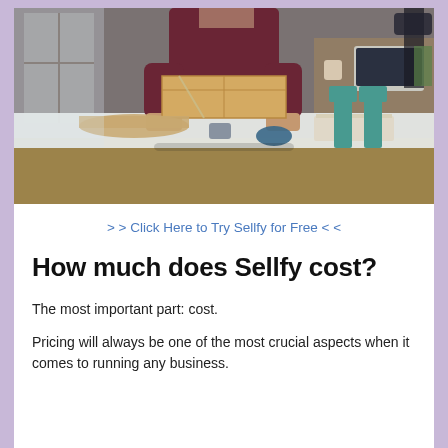[Figure (photo): Person packaging a cardboard box on a white table with packing supplies including tape, paper roll, and scissors; a laptop and chairs visible in background]
> > Click Here to Try Sellfy for Free < <
How much does Sellfy cost?
The most important part: cost.
Pricing will always be one of the most crucial aspects when it comes to running any business.